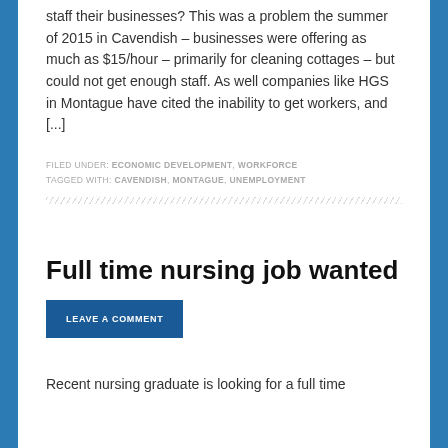staff their businesses?  This was a problem the summer of 2015 in Cavendish – businesses were offering as much as $15/hour – primarily for cleaning cottages – but could not get enough staff.  As well companies like HGS in Montague have cited the inability to get workers, and [...]
FILED UNDER: ECONOMIC DEVELOPMENT, WORKFORCE
TAGGED WITH: CAVENDISH, MONTAGUE, UNEMPLOYMENT
Full time nursing job wanted
LEAVE A COMMENT
Recent nursing graduate is looking for a full time